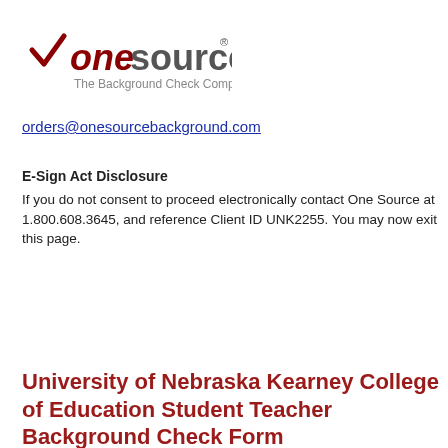[Figure (logo): OneSource logo — checkmark with 'onesource' text in dark red/gray, registered trademark symbol, tagline 'The Background Check Company']
orders@onesourcebackground.com
E-Sign Act Disclosure
If you do not consent to proceed electronically contact One Source at 1.800.608.3645, and reference Client ID UNK2255. You may now exit this page.
University of Nebraska Kearney College of Education Student Teacher Background Check Form